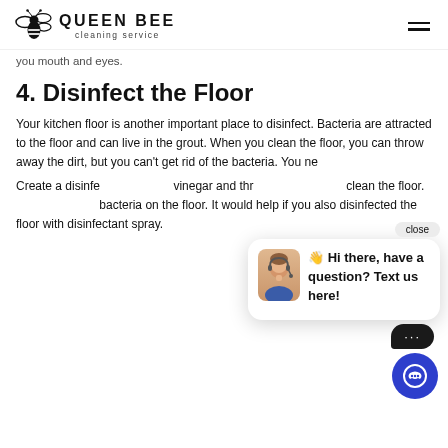QUEEN BEE cleaning service
you mouth and eyes.
4. Disinfect the Floor
Your kitchen floor is another important place to disinfect. Bacteria are attracted to the floor and can live in the grout. When you clean the floor, you can throw away the dirt, but you can't get rid of the bacteria. You ne
Create a disinfec vinegar and thr clean the floor. bacteria on the floor. It would help if you also disinfected the floor with disinfectant spray.
[Figure (other): Chat popup widget showing a female customer service agent avatar with text '👋 Hi there, have a question? Text us here!' and a close button, plus a dark bubble with ellipsis and a blue chat button icon.]